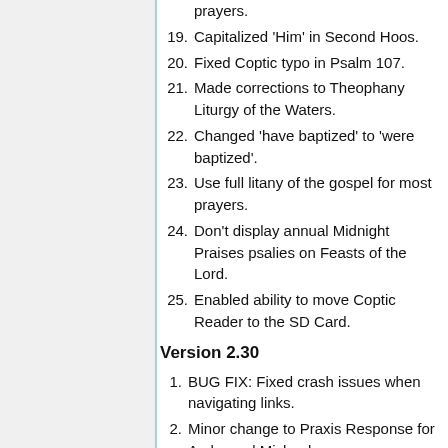prayers.
19. Capitalized 'Him' in Second Hoos.
20. Fixed Coptic typo in Psalm 107.
21. Made corrections to Theophany Liturgy of the Waters.
22. Changed 'have baptized' to 'were baptized'.
23. Use full litany of the gospel for most prayers.
24. Don't display annual Midnight Praises psalies on Feasts of the Lord.
25. Enabled ability to move Coptic Reader to the SD Card.
Version 2.30
1. BUG FIX: Fixed crash issues when navigating links.
2. Minor change to Praxis Response for Archangel Michael.